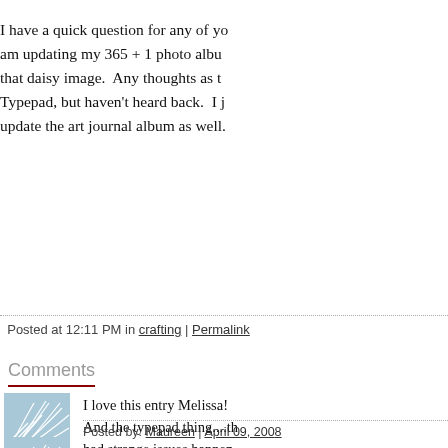I have a quick question for any of you...am updating my 365 + 1 photo album...that daisy image. Any thoughts as to...Typepad, but haven't heard back. I j...update the art journal album as well.
Posted at 12:11 PM in crafting | Permalink
Comments
[Figure (illustration): Blue wave/fan pattern avatar image for commenter Maureen]
I love this entry Melissa! And the typepad thing....th had strange issues happen while to fix it. Not the sam Good luck :)
Posted by: Maureen | April 09, 200...
[Figure (illustration): Blue wave/fan pattern avatar image for second commenter]